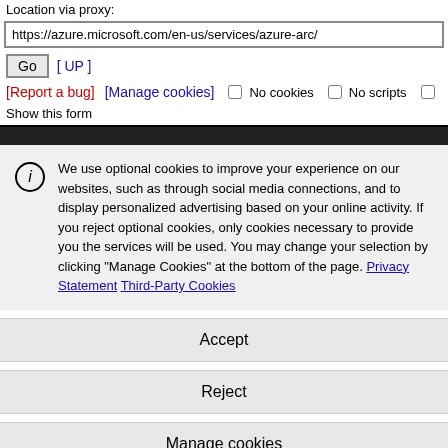Location via proxy:
https://azure.microsoft.com/en-us/services/azure-arc/
Go  [ UP ]
[Report a bug]  [Manage cookies]  No cookies  No scripts
Show this form
We use optional cookies to improve your experience on our websites, such as through social media connections, and to display personalized advertising based on your online activity. If you reject optional cookies, only cookies necessary to provide you the services will be used. You may change your selection by clicking "Manage Cookies" at the bottom of the page. Privacy Statement Third-Party Cookies
Accept
Reject
Manage cookies